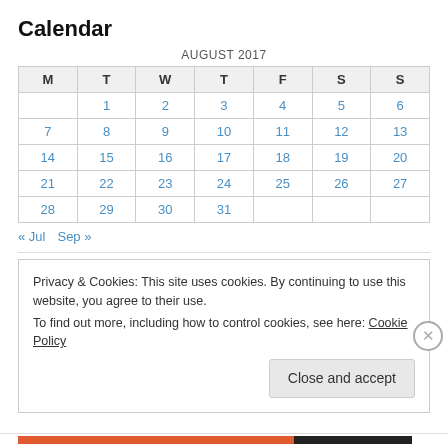Calendar
| M | T | W | T | F | S | S |
| --- | --- | --- | --- | --- | --- | --- |
|  | 1 | 2 | 3 | 4 | 5 | 6 |
| 7 | 8 | 9 | 10 | 11 | 12 | 13 |
| 14 | 15 | 16 | 17 | 18 | 19 | 20 |
| 21 | 22 | 23 | 24 | 25 | 26 | 27 |
| 28 | 29 | 30 | 31 |  |  |  |
« Jul   Sep »
Privacy & Cookies: This site uses cookies. By continuing to use this website, you agree to their use. To find out more, including how to control cookies, see here: Cookie Policy
Close and accept